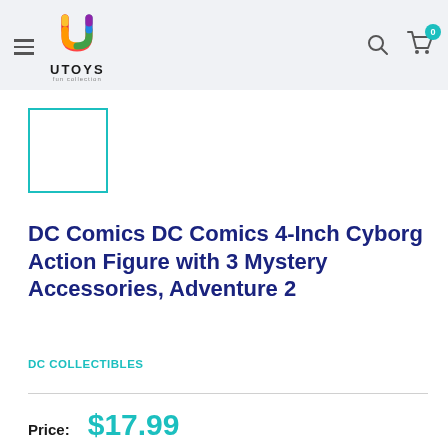UTOYS fun collection
[Figure (photo): Product thumbnail placeholder — white square with teal border]
DC Comics DC Comics 4-Inch Cyborg Action Figure with 3 Mystery Accessories, Adventure 2
DC COLLECTIBLES
Price: $17.99